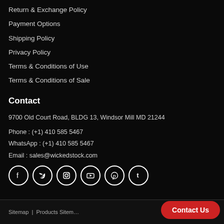Return & Exchange Policy
Payment Options
Shipping Policy
Privacy Policy
Terms & Conditions of Use
Terms & Conditions of Sale
Contact
9700 Old Court Road, BLDG 13, Windsor Mill MD 21244
Phone : (+1) 410 585 5467
WhatsApp : (+1) 410 585 5467
Email : sales@wickedstock.com
[Figure (other): Social media icons: Facebook, Twitter, Instagram, YouTube, Pinterest, Tumblr]
Sitemap  |  Products Sitemap